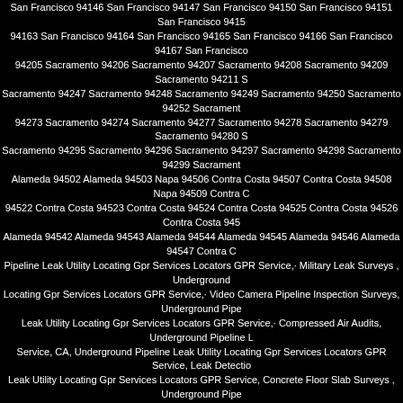San Francisco 94146 San Francisco 94147 San Francisco 94150 San Francisco 94151 San Francisco 94152 94163 San Francisco 94164 San Francisco 94165 San Francisco 94166 San Francisco 94167 San Francisco 94172 94205 Sacramento 94206 Sacramento 94207 Sacramento 94208 Sacramento 94209 Sacramento 94211 Sacramento 94247 Sacramento 94248 Sacramento 94249 Sacramento 94250 Sacramento 94252 Sacramento 94273 Sacramento 94274 Sacramento 94277 Sacramento 94278 Sacramento 94279 Sacramento 94280 Sacramento 94295 Sacramento 94296 Sacramento 94297 Sacramento 94298 Sacramento 94299 Sacramento Alameda 94502 Alameda 94503 Napa 94506 Contra Costa 94507 Contra Costa 94508 Napa 94509 Contra Costa 94522 Contra Costa 94523 Contra Costa 94524 Contra Costa 94525 Contra Costa 94526 Contra Costa 94527 Alameda 94542 Alameda 94543 Alameda 94544 Alameda 94545 Alameda 94546 Alameda 94547 Contra Costa Pipeline Leak Utility Locating Gpr Services Locators GPR Service,· Military Leak Surveys , Underground Locating Gpr Services Locators GPR Service,· Video Camera Pipeline Inspection Surveys, Underground Pipe Leak Utility Locating Gpr Services Locators GPR Service,· Compressed Air Audits, Underground Pipeline Leak Service, CA, Underground Pipeline Leak Utility Locating Gpr Services Locators GPR Service, Leak Detection Leak Utility Locating Gpr Services Locators GPR Service, Concrete Floor Slab Surveys , Underground Pipeline Utility Locating Gpr Services Locators GPR Service, Electromagnetic Induction, Underground Pipeline Underground X-Ray Mapping, Underground Pipeline Leak Utility Locating Gpr Services Locators GPR Services Services Locators GPR Service,   PS Underground Pipeline Leak Utility Locating Gpr Services, Underground Utility Locating Gpr Services Locators GPR Service, GPS Building Investigation , Underground Pipeline Leak Utility Locating Gpr Services Locators 94551 Alameda 94552 Alameda 94553 Contra Costa 94555 Alameda Costa 94570 Contra Costa 94571 Solano 94572 Contra Costa 94573 Napa 94574 Napa 94575 Contra Costa Solano 94592 Solano 94595 Contra Costa 94596 Contra Costa 94597 Contra Costa 94598 Contra Costa 94599 Alameda 94615 Alameda 94617 Alameda 94618 Alameda 94619 Alameda 94620 Alameda 94621 Alameda 94623 Alameda 94706 Alameda 94707 Alameda 94708 Alameda 94709 Alameda 94710 Alameda 94712 Alameda 94720 94903 Marin 94904 Marin 94912 Marin 94913 Marin 94914 Marin 94915 Marin 94920 Marin 94922 Sonoma 94945 Marin 94946 Marin 94947 Marin 94948 Marin 94949 Marin 94950 Marin 94951 Sonoma 94952 Sonoma 94976 Marin 94977 Marin 94978 Marin 94979 Marin 94998 Marin 94999 Sonoma 95001 Santa Cruz 95002 95015 Santa Clara 95017 Santa Cruz 95018 Santa Cruz 95019 Santa Cruz 95020 Santa Clara 95021 Santa Clara Santa Cruz 95042 Santa Clara 95043 San Benito 95044 Santa Clara 95045 San Benito 95046 Santa Clara 95060 Santa Cruz 95066 Santa Cruz 95067 Santa Cruz 95070 Santa Clara 95071 Santa Clara 95073 Santa Cruz 95075 Santa Clara 95116 Santa Clara 95117 San
Santa Clara 95125 Santa Clara 95126 Santa Clara 95127 Santa Clara 95128 Santa Clara 95129 Santa Clara 95130 Santa Clara 95151 Santa Clara 95152 Santa Clara 95153 Santa Clara 95154 Santa Clara 95155 Santa Clara 95156 Santa Clara 95193 Santa Clara 95194 Santa Clara 95196 Santa Clara 95201 San Joaquin 95202 San Joaquin 95219 San Joaquin 95220 San Joaquin 95221 Utility Locating CAlaveras 95222 Utility Locating CAlaveras 95223 San Joaquin 95231 San Joaquin 95232 Utility Locating CAlaveras 95233 Utility Locating CAlaveras 95234 Locating CAlaveras 95249 Utility Locating CAlaveras 95250 Utility Locating CAlaveras 95251 Utility Locating